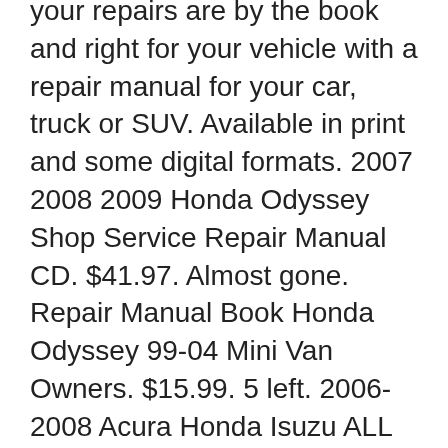your repairs are by the book and right for your vehicle with a repair manual for your car, truck or SUV. Available in print and some digital formats. 2007 2008 2009 Honda Odyssey Shop Service Repair Manual CD. $41.97. Almost gone. Repair Manual Book Honda Odyssey 99-04 Mini Van Owners. $15.99. 5 left. 2006-2008 Acura Honda Isuzu ALL MODELS Repair Service Shop Workshop Manual 2159. $29.95. 2 sold. Honda - вЂ¦
If your vehicle is equipped with a navigation system, a navigation manual with detailed instructions, settings, and other information is also available. 2009 Odyssey Navigation Manual 2009